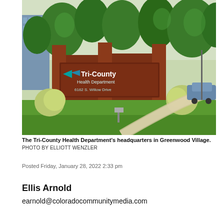[Figure (photo): Exterior photo of Tri-County Health Department headquarters building sign in Greenwood Village. A brick monument sign reads 'Tri-County Health Department' with address '6162 S. Willow Drive'. Trees and green lawn visible in background along with a modern office building.]
The Tri-County Health Department's headquarters in Greenwood Village.
PHOTO BY ELLIOTT WENZLER
Posted Friday, January 28, 2022 2:33 pm
Ellis Arnold
earnold@coloradocommunitymedia.com